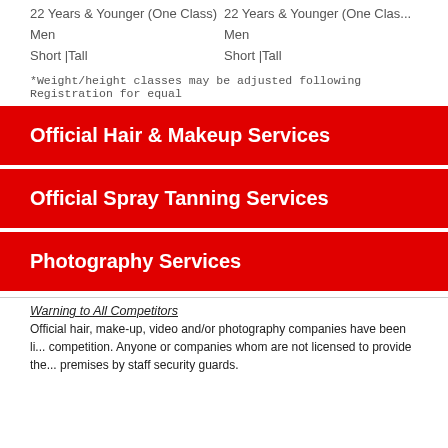22 Years & Younger (One Class)
Men
Short |Tall
22 Years & Younger (One Class)
Men
Short |Tall
*Weight/height classes may be adjusted following Registration for equal
Official Hair & Makeup Services
Official Spray Tanning Services
Photography Services
Warning to All Competitors
Official hair, make-up, video and/or photography companies have been licensed to provide their services at this competition. Anyone or companies whom are not licensed to provide these services will be removed from the premises by staff security guards.